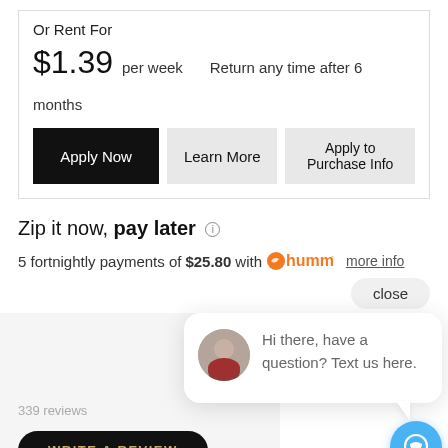Or Rent For
$1.39 per week   Return any time after 6 months
Apply Now | Learn More | Apply to Purchase Info
Zip it now, pay later
5 fortnightly payments of $25.80 with humm more info
close
339 reviews
WRITE A REVIEW
Hi there, have a question? Text us here.